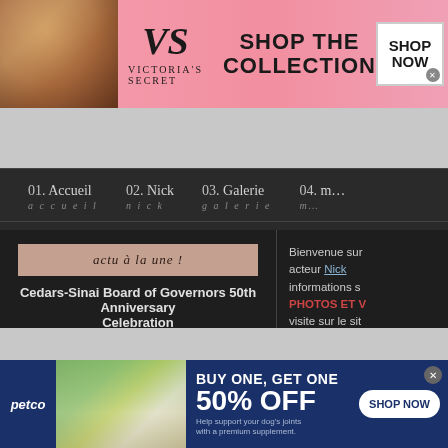[Figure (photo): Victoria's Secret advertisement banner with model on pink background, VS logo, 'SHOP THE COLLECTION' text, and 'SHOP NOW' button]
[Figure (photo): Hero strip with multiple fashion/lifestyle images]
01. Accueil
accueil
02. Nick
nick
03. Galerie
galerie
04. m...
actu à la une !
Cedars-Sinai Board of Governors 50th Anniversary Celebration
En dehors de Sweet Butter
Alan Silfen - Perfect Moment
Nick, Priyanka et des amis sur la plage de Cabo
Bienvenue sur acteur Nick informations s PHOTOS ET V visite sur le sit MIS À JOUR tr
[Figure (photo): Petco advertisement banner: Buy One Get One 50% Off dog supplement promotion with image of woman and dog]